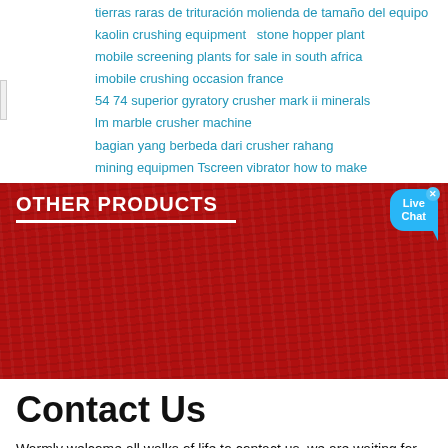tierras raras de trituración molienda de tamaño del equipo
kaolin crushing equipment  stone hopper plant
mobile screening plants for sale in south africa
imobile crushing occasion france
54 74 superior gyratory crusher mark ii minerals
lm marble crusher machine
bagian yang berbeda dari crusher rahang
mining equipmen Tscreen vibrator how to make
OTHER PRODUCTS
[Figure (photo): Red textured background panel]
Contact Us
Warmly welcome all walks of life to contact us, we are waiting for